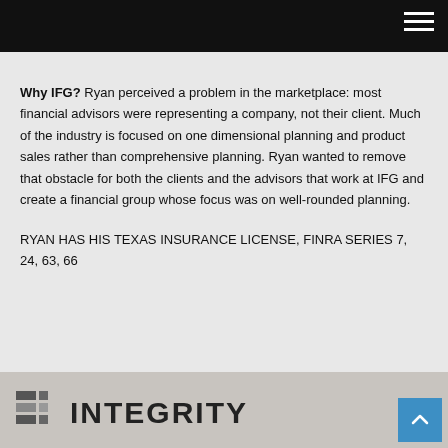Why IFG? Ryan perceived a problem in the marketplace: most financial advisors were representing a company, not their client. Much of the industry is focused on one dimensional planning and product sales rather than comprehensive planning. Ryan wanted to remove that obstacle for both the clients and the advisors that work at IFG and create a financial group whose focus was on well-rounded planning.
RYAN HAS HIS TEXAS INSURANCE LICENSE, FINRA SERIES 7, 24, 63, 66
[Figure (logo): Integrity Financial Group logo with grid icon and INTEGRITY text]